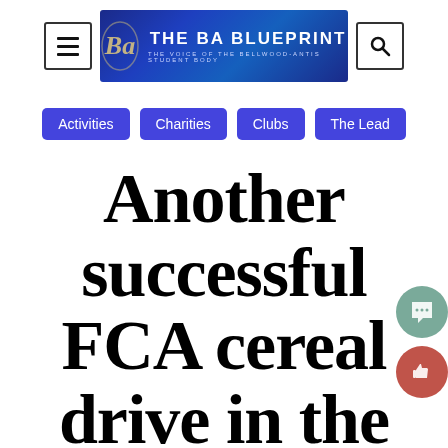[Figure (logo): The BA Blueprint banner logo with blue gradient background and tagline 'The Voice of the Bellwood-Antis Student Body']
Activities
Charities
Clubs
The Lead
Another successful FCA cereal drive in the